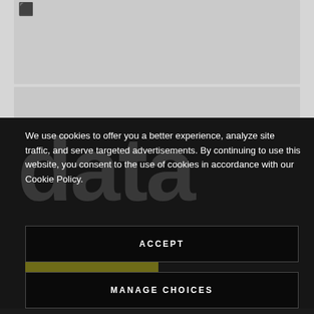[Figure (screenshot): Top gray content area (cropped website screenshot background)]
We use cookies to offer you a better experience, analyze site traffic, and serve targeted advertisements. By continuing to use this website, you consent to the use of cookies in accordance with our Cookie Policy.
ACCEPT
MANAGE CHOICES